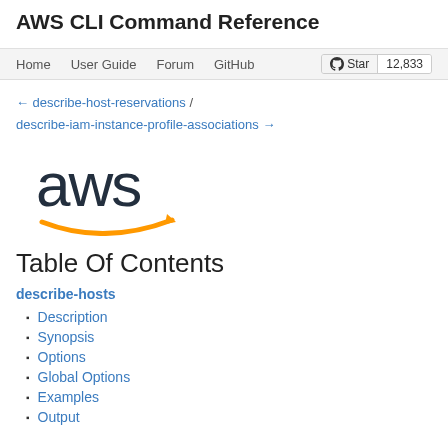AWS CLI Command Reference
Home | User Guide | Forum | GitHub | Star 12,833
← describe-host-reservations / describe-iam-instance-profile-associations →
[Figure (logo): AWS logo with orange arrow smile]
Table Of Contents
describe-hosts
Description
Synopsis
Options
Global Options
Examples
Output